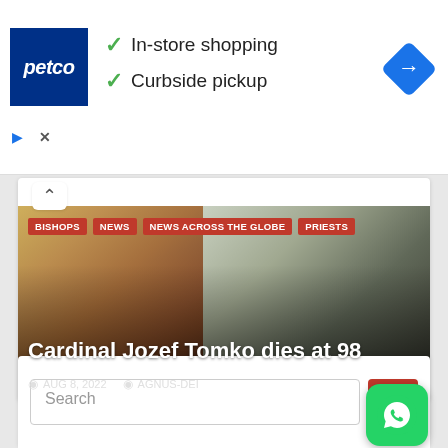[Figure (screenshot): Petco advertisement banner showing logo, 'In-store shopping' and 'Curbside pickup' checkmarks, and a navigation diamond icon]
✓ In-store shopping
✓ Curbside pickup
[Figure (photo): News article card with image of an elderly cardinal and decorative fabric background, showing tags BISHOPS, NEWS, NEWS ACROSS THE GLOBE, PRIESTS, headline 'Cardinal Jozef Tomko dies at 98', date AUG 8, 2022, author AGNUS-DEI]
Cardinal Jozef Tomko dies at 98
AUG 8, 2022   AGNUS-DEI
Search